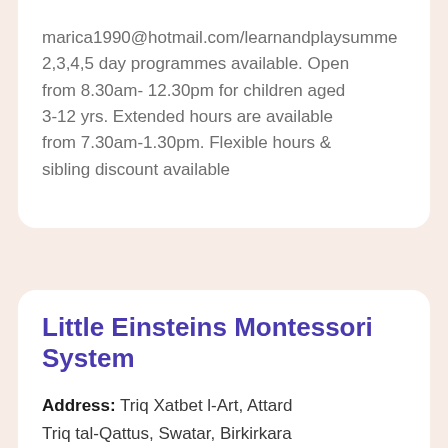marica1990@hotmail.com/learnandplaysumme 2,3,4,5 day programmes available. Open from 8.30am- 12.30pm for children aged 3-12 yrs. Extended hours are available from 7.30am-1.30pm. Flexible hours & sibling discount available
Little Einsteins Montessori System
Address: Triq Xatbet l-Art, Attard Triq tal-Qattus, Swatar, Birkirkara Locality: Triq Glormu Cassar, Mosta Mob: